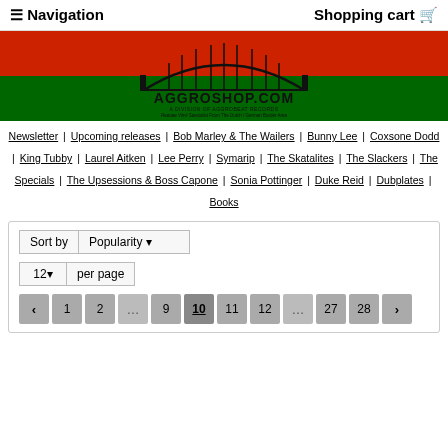≡ Navigation | Shopping cart 🛒
[Figure (logo): AGGROSHOP.COM logo with bridge graphic on red and green background. Text: A DIVISION OF AGGROBEAT RECORDS. Reggae Vinyl Specialist From The Dutch / German Border Area.]
Newsletter | Upcoming releases | Bob Marley & The Wailers | Bunny Lee | Coxsone Dodd | King Tubby | Laurel Aitken | Lee Perry | Symarip | The Skatalites | The Slackers | The Specials | The Upsessions & Boss Capone | Sonia Pottinger | Duke Reid | Dubplates | Books
Sort by Popularity
12 per page
Pagination: < 1 2 ... 9 10 11 12 ... 27 28 >